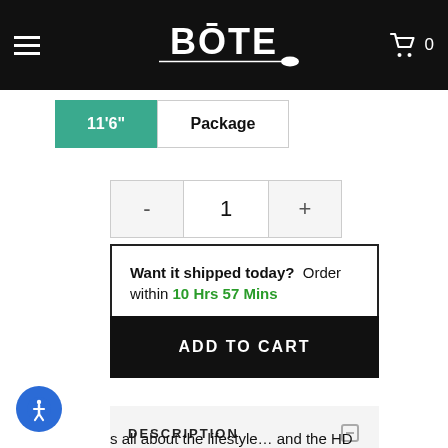BOTE — Navigation header with hamburger menu, BOTE logo, and cart icon (0 items)
11'6"
Package
1 (quantity selector with - and +)
Want it shipped today?  Order within 10 Hrs 57 Mins
ADD TO CART
DESCRIPTION
s all about the lifestyle… and the HD Aero 11'6" Classic Cypress embodies it. If you're looking for the